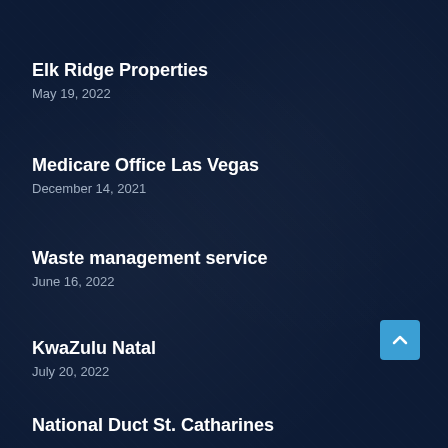Elk Ridge Properties
May 19, 2022
Medicare Office Las Vegas
December 14, 2021
Waste management service
June 16, 2022
KwaZulu Natal
July 20, 2022
National Duct St. Catharines
August 21, 2022